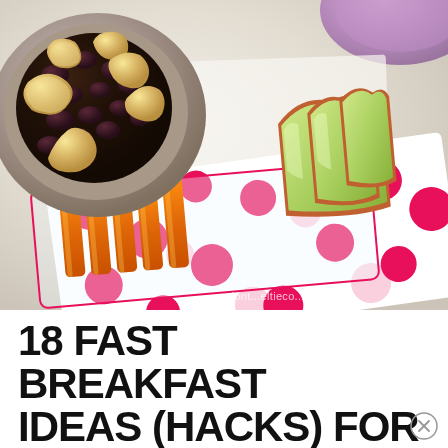[Figure (photo): Photo of a lunch box/container with carrot sticks and apple slices, alongside a bowl of cashews and raisins on a marble surface. A pink polka-dot napkin/wrapper is visible in the container. Watermark partially visible at bottom right reading 'dont..eltieco...ss.com'.]
18 FAST BREAKFAST IDEAS (HACKS) FOR PACKING SCHOOL LUNCH